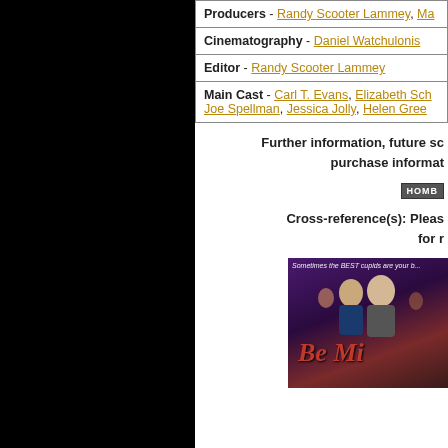| Producers - Randy Scooter Lammey, Ma... |
| Cinematography - Daniel Watchulonis |
| Editor - Randy Scooter Lammey |
| Main Cast - Carl T. Evans, Elizabeth Sch..., Joe Spellman, Jessica Jolly, Helen Gree... |
Further information, future sc... purchase informat...
[Figure (screenshot): HOME button/link]
Cross-reference(s): Pleas... for r...
[Figure (photo): Movie poster for 'Be Mine' showing two men and other people in a purple/dark background with the Be Mine title in red italic text]